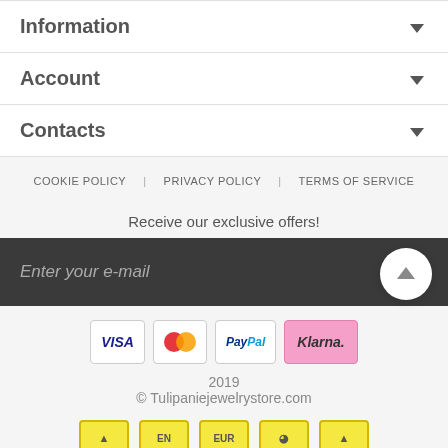Information
Account
Contacts
COOKIE POLICY | PRIVACY POLICY | TERMS OF SERVICE
Receive our exclusive offers!
Enter your e-mail
[Figure (other): Payment method icons: VISA, Mastercard, PayPal, Klarna]
2019
© Tulipaniejewelrystore.com
[Figure (other): Bottom navigation icons row with yellow boxes]
This site, like most, uses cookies. If you continue